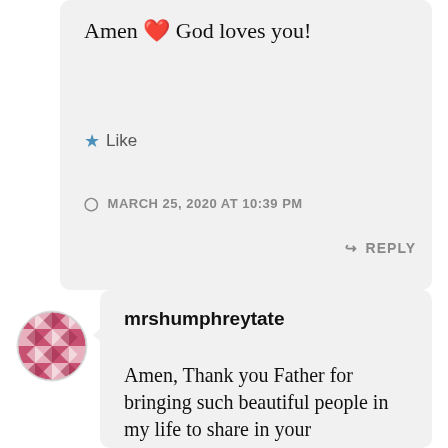Amen ❤ God loves you!
★ Like
MARCH 25, 2020 AT 10:39 PM
↳ REPLY
[Figure (illustration): Circular avatar with a decorative quilt-like pattern in pink/red and white geometric squares]
mrshumphreytate
Amen, Thank you Father for bringing such beautiful people in my life to share in your